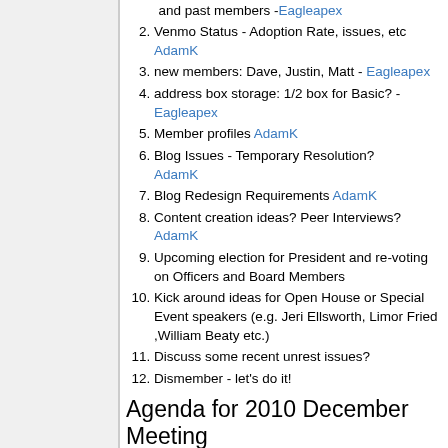and past members -Eagleapex
Venmo Status - Adoption Rate, issues, etc AdamK
new members: Dave, Justin, Matt - Eagleapex
address box storage: 1/2 box for Basic? -Eagleapex
Member profiles AdamK
Blog Issues - Temporary Resolution? AdamK
Blog Redesign Requirements AdamK
Content creation ideas? Peer Interviews? AdamK
Upcoming election for President and re-voting on Officers and Board Members
Kick around ideas for Open House or Special Event speakers (e.g. Jeri Ellsworth, Limor Fried ,William Beaty etc.)
Discuss some recent unrest issues?
Dismember - let's do it!
Agenda for 2010 December Meeting